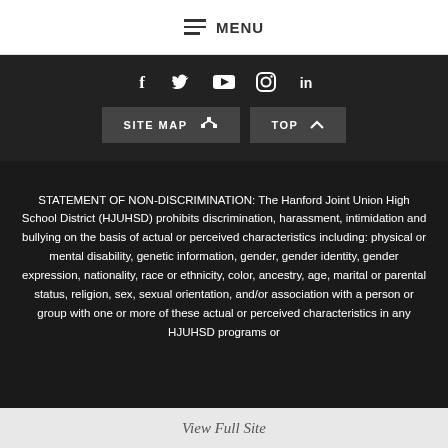MENU
[Figure (other): Social media icons: Facebook, Twitter, YouTube, Instagram, LinkedIn on dark background]
SITE MAP  TOP
STATEMENT OF NON-DISCRIMINATION: The Hanford Joint Union High School District (HJUHSD) prohibits discrimination, harassment, intimidation and bullying on the basis of actual or perceived characteristics including: physical or mental disability, genetic information, gender, gender identity, gender expression, nationality, race or ethnicity, color, ancestry, age, marital or parental status, religion, sex, sexual orientation, and/or association with a person or group with one or more of these actual or perceived characteristics in any HJUHSD programs or
View Full Site